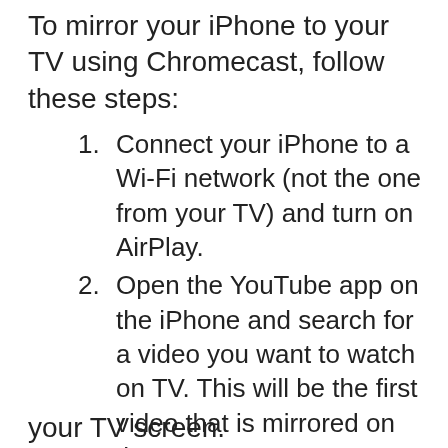To mirror your iPhone to your TV using Chromecast, follow these steps:
Connect your iPhone to a Wi-Fi network (not the one from your TV) and turn on AirPlay.
Open the YouTube app on the iPhone and search for a video you want to watch on TV. This will be the first video that is mirrored on the TV.
Press play on the video and you should see a Chromecast icon in the top right corner of your screen
Tap this icon and select "Chromecast" to cast it onto your TV screen.